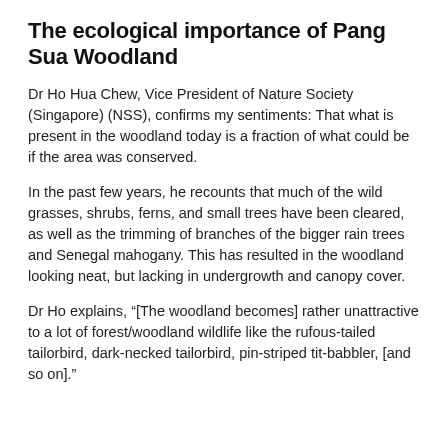The ecological importance of Pang Sua Woodland
Dr Ho Hua Chew, Vice President of Nature Society (Singapore) (NSS), confirms my sentiments: That what is present in the woodland today is a fraction of what could be if the area was conserved.
In the past few years, he recounts that much of the wild grasses, shrubs, ferns, and small trees have been cleared, as well as the trimming of branches of the bigger rain trees and Senegal mahogany. This has resulted in the woodland looking neat, but lacking in undergrowth and canopy cover.
Dr Ho explains, “[The woodland becomes] rather unattractive to a lot of forest/woodland wildlife like the rufous-tailed tailorbird, dark-necked tailorbird, pin-striped tit-babbler, [and so on].”